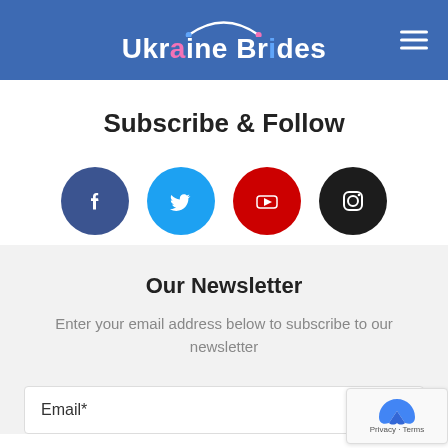Ukraine Brides
Subscribe & Follow
[Figure (infographic): Four social media icons in circular buttons: Facebook (dark blue), Twitter (light blue), YouTube (red), Instagram (dark/black)]
Our Newsletter
Enter your email address below to subscribe to our newsletter
Email*